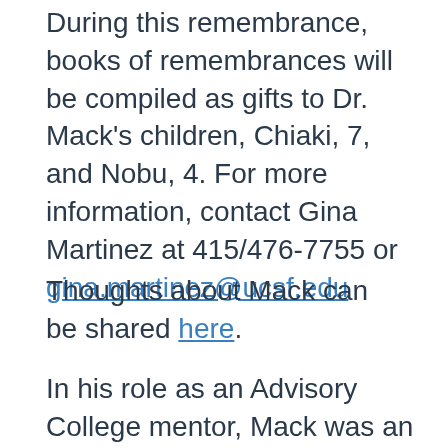During this remembrance, books of remembrances will be compiled as gifts to Dr. Mack's children, Chiaki, 7, and Nobu, 4. For more information, contact Gina Martinez at 415/476-7755 or gina.martinez@ucsf.edu
Thoughts about Mack can be shared here.
In his role as an Advisory College mentor, Mack was an extraordinary supporter of students in their academic and professional development, said